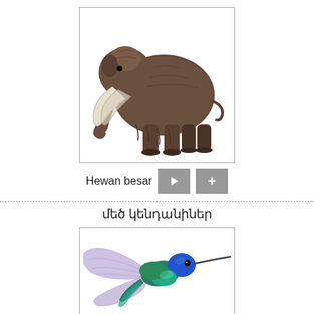[Figure (illustration): Illustration of a woolly mammoth with large curved tusks and shaggy brown fur, facing left, shown in profile view against a white background inside a bordered box.]
Hewan besar ▶ +
մեծ կենդանիներ
[Figure (illustration): Illustration of a hummingbird with iridescent blue-green plumage, wings spread, long beak pointing right, hovering position, against a white background inside a bordered box.]